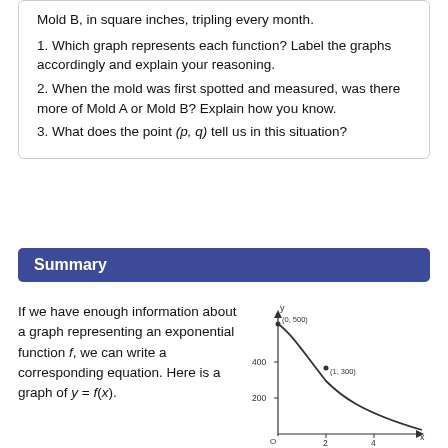Mold B, in square inches, tripling every month.
1. Which graph represents each function? Label the graphs accordingly and explain your reasoning.
2. When the mold was first spotted and measured, was there more of Mold A or Mold B? Explain how you know.
3. What does the point (p, q) tell us in this situation?
Summary
If we have enough information about a graph representing an exponential function f, we can write a corresponding equation. Here is a graph of y = f(x).
[Figure (continuous-plot): Graph of a decreasing exponential function with labeled points (0, 500) and (1, 300). X-axis from 0 to beyond 4, y-axis with ticks at 200 and 400.]